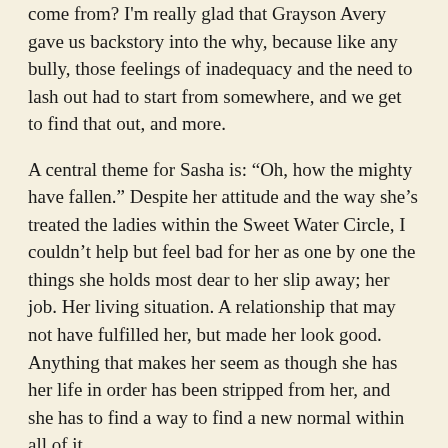come from? I'm really glad that Grayson Avery gave us backstory into the why, because like any bully, those feelings of inadequacy and the need to lash out had to start from somewhere, and we get to find that out, and more.
A central theme for Sasha is: “Oh, how the mighty have fallen.” Despite her attitude and the way she’s treated the ladies within the Sweet Water Circle, I couldn’t help but feel bad for her as one by one the things she holds most dear to her slip away; her job. Her living situation. A relationship that may not have fulfilled her, but made her look good. Anything that makes her seem as though she has her life in order has been stripped from her, and she has to find a way to find a new normal within all of it.
Sasha has to decide on who she can rely on, even when she’s always felt that there is no one to rely on but herself. It was really great to see a lot of character evolution, when she tries to figure out what that means and who is worth fighting for, even when no one wants to fight for her. As always, Grayson Avery provided the reader with a lot of laughs, great dialogue, and realistic reactions that felt fitting for Sasha, but we get to see a side of Sasha never seen before–which made her story a great addition to